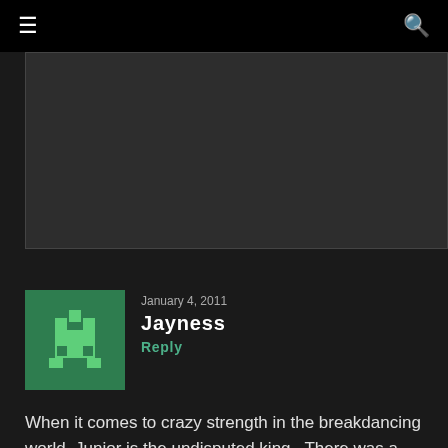☰  🔍
[Figure (screenshot): Dark video embed area, partially visible, dark gray background]
January 4, 2011
Jayness
Reply
When it comes to crazy strength in the breakdancing world, Junior is the undisputed king.  There was a video of him that went viral several years ago (just google "best breakdancer" and you get a